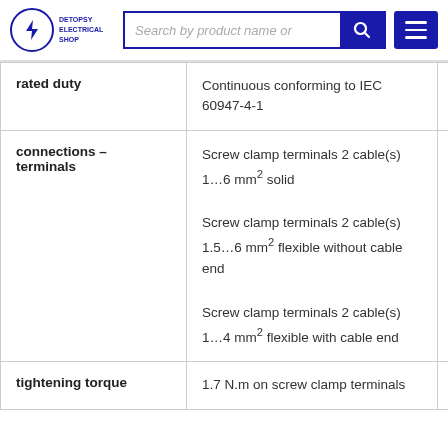DETOPSY ELECTRICAL SHOP — Search by product name or...
| Property | Value |
| --- | --- |
| rated duty | Continuous conforming to IEC 60947-4-1 |
| connections – terminals | Screw clamp terminals 2 cable(s) 1…6 mm² solid
Screw clamp terminals 2 cable(s) 1.5…6 mm² flexible without cable end
Screw clamp terminals 2 cable(s) 1…4 mm² flexible with cable end |
| tightening torque | 1.7 N.m on screw clamp terminals |